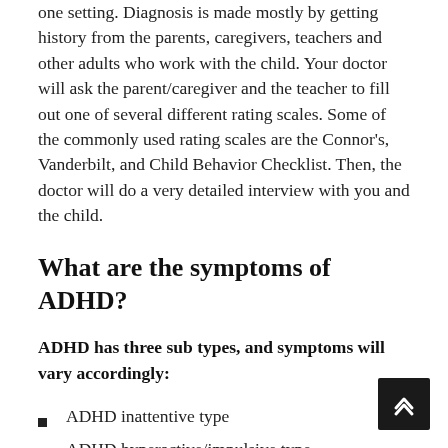one setting. Diagnosis is made mostly by getting history from the parents, caregivers, teachers and other adults who work with the child. Your doctor will ask the parent/caregiver and the teacher to fill out one of several different rating scales. Some of the commonly used rating scales are the Connor's, Vanderbilt, and Child Behavior Checklist. Then, the doctor will do a very detailed interview with you and the child.
What are the symptoms of ADHD?
ADHD has three sub types, and symptoms will vary accordingly:
ADHD inattentive type
ADHD hyperactive/impulsive type